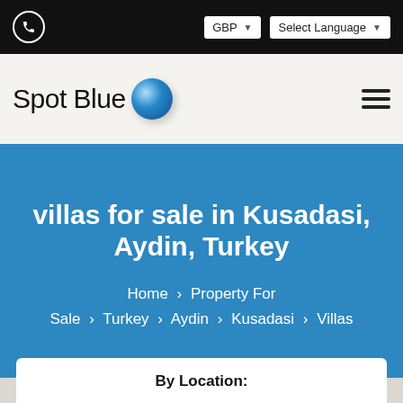GBP | Select Language
[Figure (logo): Spot Blue logo with blue sphere]
villas for sale in Kusadasi, Aydin, Turkey
Home > Property For Sale > Turkey > Aydin > Kusadasi > Villas
By Location: